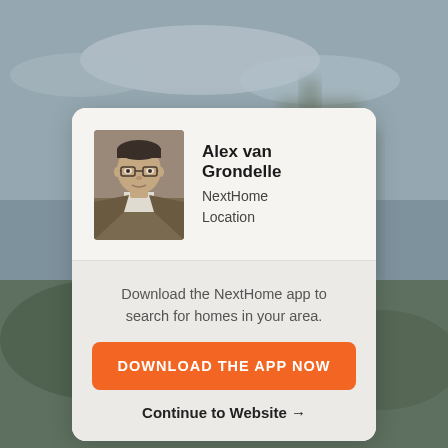[Figure (photo): Blurred outdoor background showing sky and building structure]
[Figure (photo): Headshot photo of Alex van Grondelle, a middle-aged man wearing glasses and a tan/brown blazer]
Alex van Grondelle
NextHome
Location
Download the NextHome app to search for homes in your area.
DOWNLOAD THE APP NOW
Continue to Website →